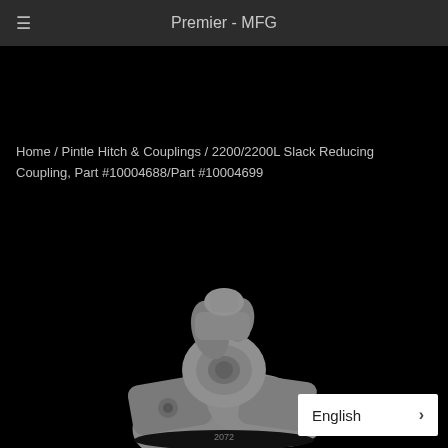Premier - MFG
Home / Pintle Hitch & Couplings / 2200/2200L Slack Reducing Coupling, Part #10004688/Part #10004699
[Figure (photo): Close-up photo of a grey metal pintle hitch slack reducing coupling part against a black background. The casting shows part number 2072.]
English >